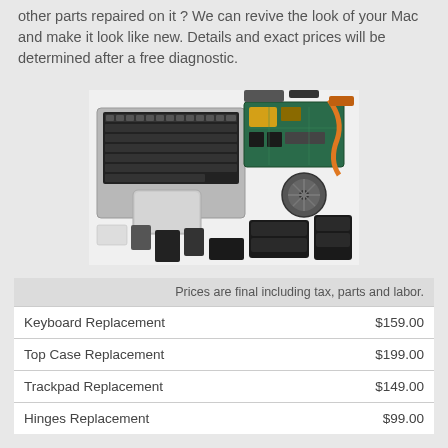other parts repaired on it ? We can revive the look of your Mac and make it look like new. Details and exact prices will be determined after a free diagnostic.
[Figure (photo): Disassembled MacBook laptop showing keyboard/trackpad assembly on the left and motherboard, battery, fan, and other internal components scattered on a white surface.]
|  |  |
| --- | --- |
| Prices are final including tax, parts and labor. |  |
| Keyboard Replacement | $159.00 |
| Top Case Replacement | $199.00 |
| Trackpad Replacement | $149.00 |
| Hinges Replacement | $99.00 |